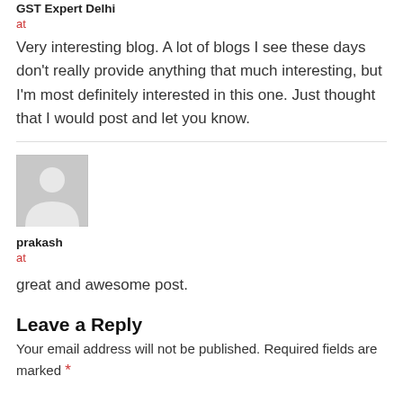GST Expert Delhi
at
Very interesting blog. A lot of blogs I see these days don't really provide anything that much interesting, but I'm most definitely interested in this one. Just thought that I would post and let you know.
[Figure (photo): Default avatar placeholder image — grey silhouette of a person on light grey background]
prakash
at
great and awesome post.
Leave a Reply
Your email address will not be published. Required fields are marked *